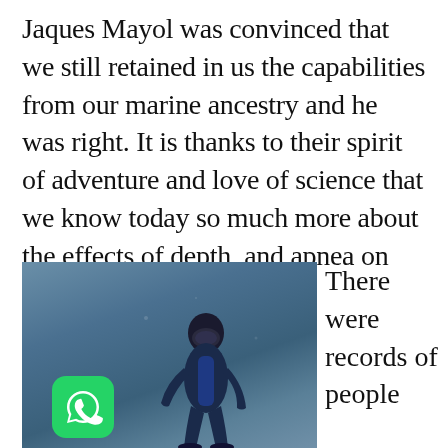Jaques Mayol was convinced that we still retained in us the capabilities from our marine ancestry and he was right. It is thanks to their spirit of adventure and love of science that we know today so much more about the effects of depth, and apnea on the human body.
[Figure (photo): Underwater photo of a freediver in a dark wetsuit and mask, swimming in blue-grey water. A WhatsApp icon overlay appears in the bottom-left corner of the image.]
There were records of people